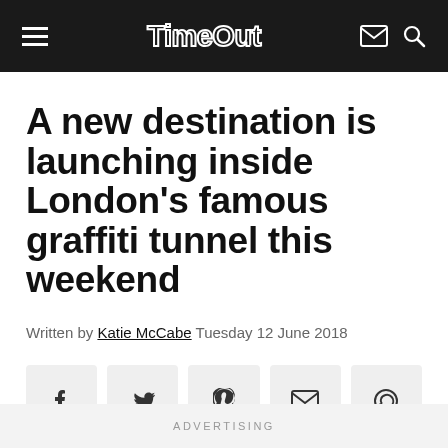Time Out
A new destination is launching inside London’s famous graffiti tunnel this weekend
Written by Katie McCabe Tuesday 12 June 2018
[Figure (other): Social share buttons: Facebook, Twitter, Pinterest, Email, WhatsApp]
ADVERTISING